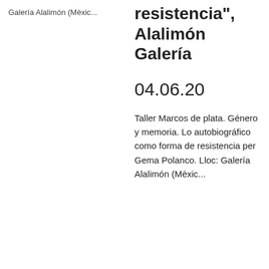Galería Alalimón (Mèxic...
resistencia", Alalimón Galería
04.06.20
Taller Marcos de plata. Género y memoria. Lo autobiográfico como forma de resistencia per Gema Polanco. Lloc: Galería Alalimón (Mèxic...